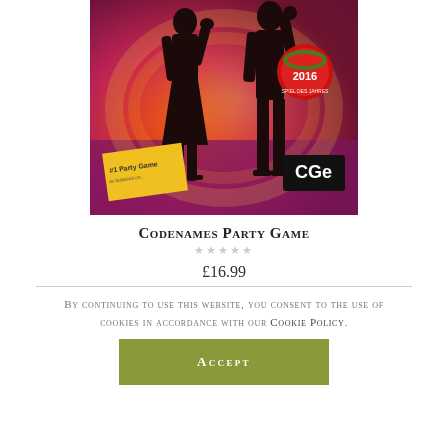[Figure (photo): Product image of Codenames Party Game box showing two silhouetted figures (a man and a woman) against an orange/yellow/purple swirling background. A red 'Spiel des Jahres 2016' award badge and CGE (Czech Games Edition) logo are visible on the box.]
Codenames Party Game
£16.99
By continuing to use this website, you consent to the use of cookies in accordance with our Cookie Policy.
Accept